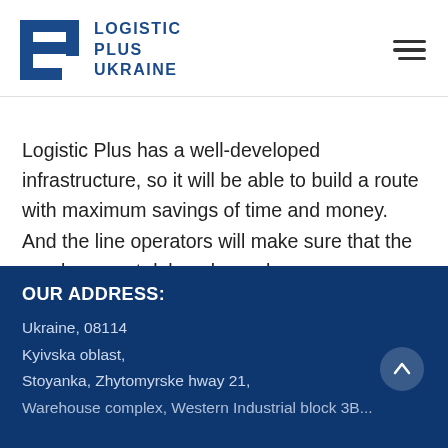[Figure (logo): Logistic Plus Ukraine logo with stylized LP monogram in dark blue and company name text]
Logistic Plus has a well-developed infrastructure, so it will be able to build a route with maximum savings of time and money. And the line operators will make sure that the goods are not delayed anywhere.
OUR ADDRESS:
Ukraine, 08114
Kyivska oblast,
Stoyanka, Zhytomyrske hway 21,